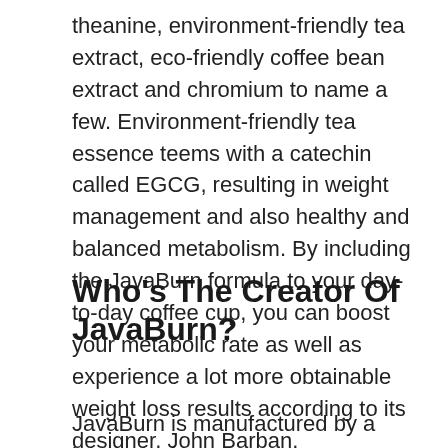theanine, environment-friendly tea extract, eco-friendly coffee bean extract and chromium to name a few. Environment-friendly tea essence teems with a catechin called EGCG, resulting in weight management and also healthy and balanced metabolism. By including the JavaBurn formula to your day-to-day coffee cup, you can boost your metabolic rate as well as experience a lot more obtainable weight loss results according to its designer, John Barban.
Who's The Creator Of JavaBurn?
JavaBurn is manufactured by a business that runs